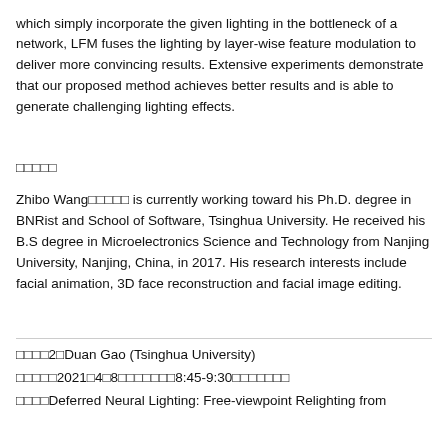which simply incorporate the given lighting in the bottleneck of a network, LFM fuses the lighting by layer-wise feature modulation to deliver more convincing results. Extensive experiments demonstrate that our proposed method achieves better results and is able to generate challenging lighting effects.
□□□□□
Zhibo Wang□□□□□ is currently working toward his Ph.D. degree in BNRist and School of Software, Tsinghua University. He received his B.S degree in Microelectronics Science and Technology from Nanjing University, Nanjing, China, in 2017. His research interests include facial animation, 3D face reconstruction and facial image editing.
□□□□2□Duan Gao (Tsinghua University)
□□□□□2021□4□8□□□□□□□8:45-9:30□□□□□□□
□□□□Deferred Neural Lighting: Free-viewpoint Relighting from